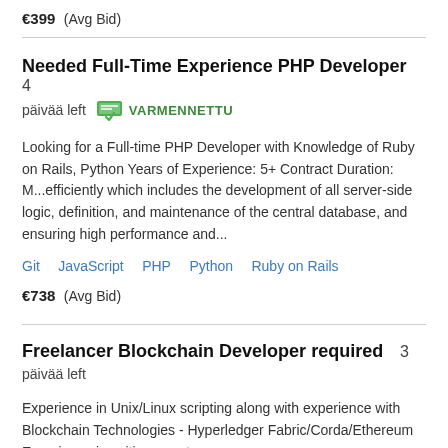€399  (Avg Bid)
Needed Full-Time Experience PHP Developer  4
päivää left   VARMENNETTU
Looking for a Full-time PHP Developer with Knowledge of Ruby on Rails, Python Years of Experience: 5+ Contract Duration: M...efficiently which includes the development of all server-side logic, definition, and maintenance of the central database, and ensuring high performance and...
Git   JavaScript   PHP   Python   Ruby on Rails
€738  (Avg Bid)
Freelancer Blockchain Developer required  3
päivää left
Experience in Unix/Linux scripting along with experience with Blockchain Technologies - Hyperledger Fabric/Corda/Ethereum Experience in writing smart